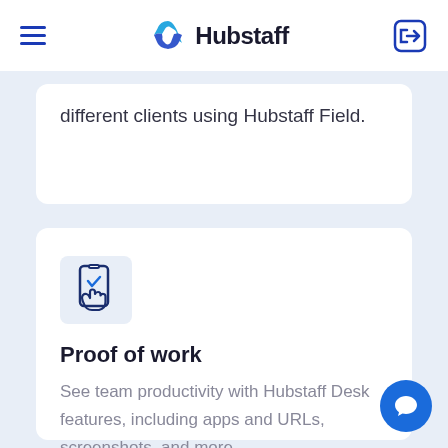Hubstaff
different clients using Hubstaff Field.
[Figure (illustration): Mobile phone with checkmark and hand icon representing proof of work feature]
Proof of work
See team productivity with Hubstaff Desk features, including apps and URLs, screenshots, and more.